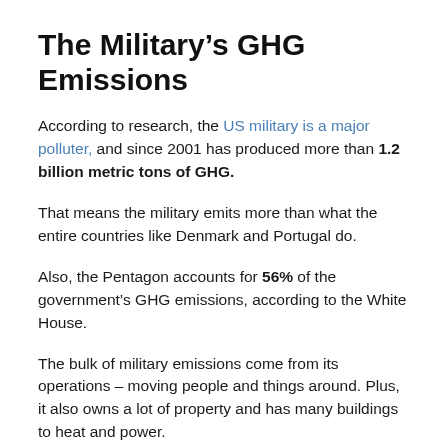The Military’s GHG Emissions
According to research, the US military is a major polluter, and since 2001 has produced more than 1.2 billion metric tons of GHG.
That means the military emits more than what the entire countries like Denmark and Portugal do.
Also, the Pentagon accounts for 56% of the government’s GHG emissions, according to the White House.
The bulk of military emissions come from its operations – moving people and things around. Plus, it also owns a lot of property and has many buildings to heat and power.
The US Army’s climate plan, unveiled earlier this year, seeks to achieve a 50% reduction in Army net GHG emissions by